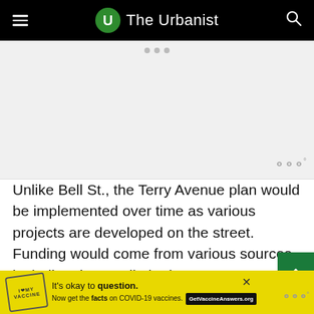The Urbanist
[Figure (photo): Advertisement placeholder area, light gray background with three small dots at the top center and a watermark logo at bottom right.]
Unlike Bell St., the Terry Avenue plan would be implemented over time as various projects are developed on the street. Funding would come from various sources including, but not limited to, property developers and landowners located along the right-of-way. The Terry Avenue plan is also being designed to integrate with the Madison BRT project's pedestrian improvement and open space goals.
[Figure (screenshot): Bottom advertisement banner: yellow background. Stamp icon on left. Text: It's okay to question. Now get the facts on COVID-19 vaccines. GetVaccineAnswers.org button.]